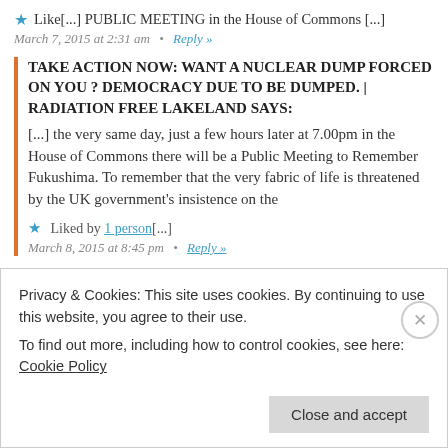★ Like[...] PUBLIC MEETING in the House of Commons [...]
March 7, 2015 at 2:31 am  •  Reply »
TAKE ACTION NOW: WANT A NUCLEAR DUMP FORCED ON YOU ? DEMOCRACY DUE TO BE DUMPED. | RADIATION FREE LAKELAND SAYS:
[...] the very same day, just a few hours later at 7.00pm in the House of Commons there will be a Public Meeting to Remember Fukushima. To remember that the very fabric of life is threatened by the UK government's insistence on the
★ Liked by 1 person[...]
March 8, 2015 at 8:45 pm  •  Reply »
LEAVE A REPLY
Privacy & Cookies: This site uses cookies. By continuing to use this website, you agree to their use.
To find out more, including how to control cookies, see here: Cookie Policy